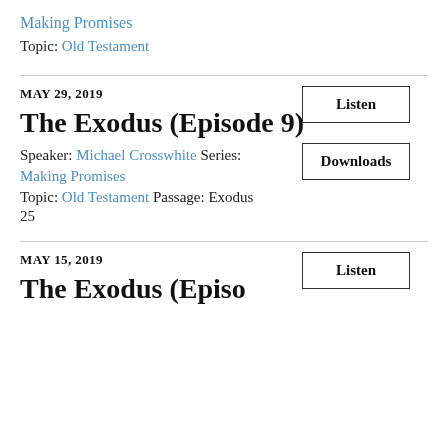Making Promises
Topic: Old Testament
MAY 29, 2019
The Exodus (Episode 9)
Speaker: Michael Crosswhite Series:
Making Promises
Topic: Old Testament Passage: Exodus 25
MAY 15, 2019
The Exodus (Episode...